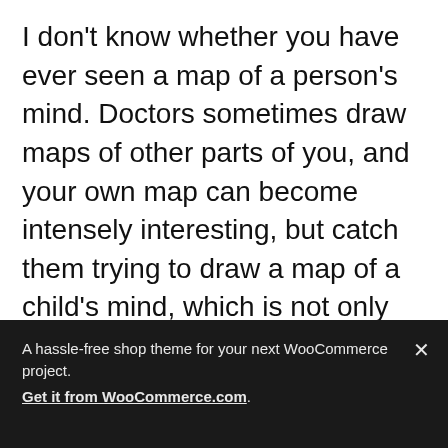I don't know whether you have ever seen a map of a person's mind. Doctors sometimes draw maps of other parts of you, and your own map can become intensely interesting, but catch them trying to draw a map of a child's mind, which is not only confused, but keeps going round all the time. There are zigzag lines on it, just like your temperature on a card, and these are probably roads in the island, for the Neverland is always more or less an island
A hassle-free shop theme for your next WooCommerce project. Get it from WooCommerce.com.